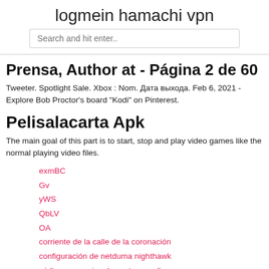logmein hamachi vpn
Prensa, Author at - Página 2 de 60
Tweeter. Spotlight Sale. Xbox : Nom. Дата выхода. Feb 6, 2021 - Explore Bob Proctor's board "Kodi" on Pinterest.
Pelisalacarta Apk
The main goal of this part is to start, stop and play video games like the normal playing video files.
exmBC
Gv
yWS
QbLV
OA
corriente de la calle de la coronación
configuración de netduma nighthawk
código promocional avast secureline vpn